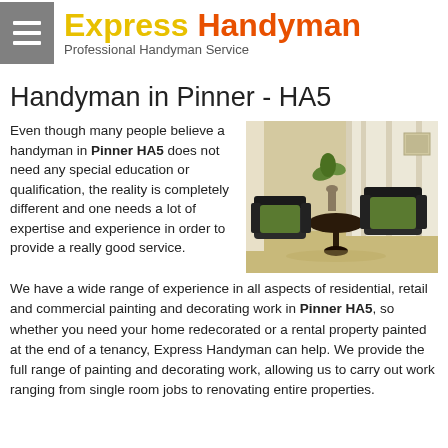Express Handyman – Professional Handyman Service
Handyman in Pinner - HA5
Even though many people believe a handyman in Pinner HA5 does not need any special education or qualification, the reality is completely different and one needs a lot of expertise and experience in order to provide a really good service.
[Figure (photo): Interior room with dark wood armchairs with green cushions around a small round table, neutral walls and curtains]
We have a wide range of experience in all aspects of residential, retail and commercial painting and decorating work in Pinner HA5, so whether you need your home redecorated or a rental property painted at the end of a tenancy, Express Handyman can help. We provide the full range of painting and decorating work, allowing us to carry out work ranging from single room jobs to renovating entire properties.